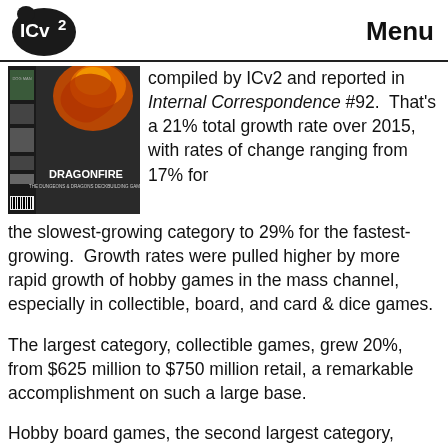ICv2 — Menu
[Figure (photo): Book/game cover images including Dragonfire: The Dungeons & Dragons Deckbuilding Game and other titles]
compiled by ICv2 and reported in Internal Correspondence #92.  That's a 21% total growth rate over 2015, with rates of change ranging from 17% for the slowest-growing category to 29% for the fastest-growing.  Growth rates were pulled higher by more rapid growth of hobby games in the mass channel, especially in collectible, board, and card & dice games.
The largest category, collectible games, grew 20%, from $625 million to $750 million retail, a remarkable accomplishment on such a large base.
Hobby board games, the second largest category,